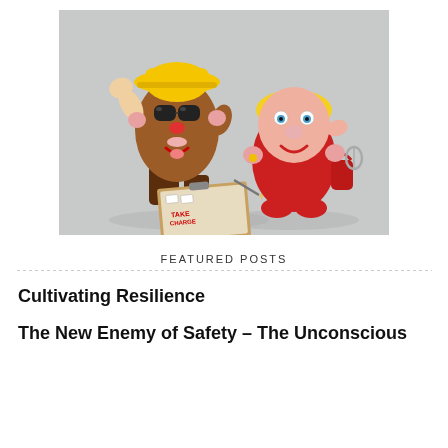[Figure (photo): Two Mr. Potato Head toy figures styled as a construction worker (wearing yellow hard hat and glasses) and a woman figure (with blonde hair and red body), with a small clipboard with a form between them, set against a light grey background.]
FEATURED POSTS
Cultivating Resilience
The New Enemy of Safety – The Unconscious